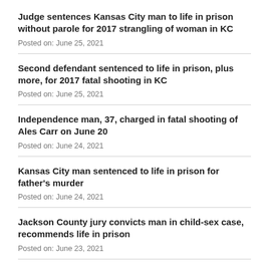Judge sentences Kansas City man to life in prison without parole for 2017 strangling of woman in KC
Posted on: June 25, 2021
Second defendant sentenced to life in prison, plus more, for 2017 fatal shooting in KC
Posted on: June 25, 2021
Independence man, 37, charged in fatal shooting of Ales Carr on June 20
Posted on: June 24, 2021
Kansas City man sentenced to life in prison for father's murder
Posted on: June 24, 2021
Jackson County jury convicts man in child-sex case, recommends life in prison
Posted on: June 23, 2021